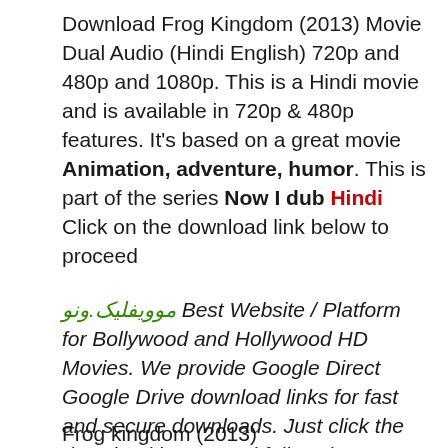Download Frog Kingdom (2013) Movie Dual Audio (Hindi English) 720p and 480p and 1080p. This is a Hindi movie and is available in 720p & 480p features. It's based on a great movie Animation, adventure, humor. This is part of the series Now I dub Hindi Click on the download link below to proceed
موویفلیک.ونو Best Website / Platform for Bollywood and Hollywood HD Movies. We provide Google Direct Google Drive download links for fast and secure downloads. Just click the download button and follow the steps to download and watch movies for free.
Frog kingdom (2013)